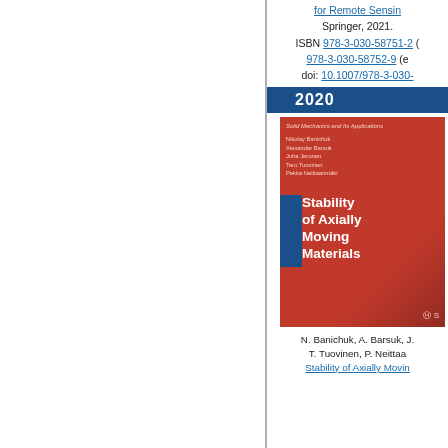for Remote Sensing. Springer, 2021. ISBN 978-3-030-58751-2 (978-3-030-58752-9 (e)). doi: 10.1007/978-3-030-
2020
[Figure (photo): Book cover of 'Stability of Axially Moving Materials' from Solid Mechanics and Its Applications series, Springer. Authors: Nikolay Banichuk, Alexander Barsuk, Juha Jeronen, Tero Tuovinen, Pekka Neittaanmäki. Red cover with blue accent rectangle and white bold title text.]
N. Banichuk, A. Barsuk, J. T. Tuovinen, P. Neittaa Stability of Axially Moving